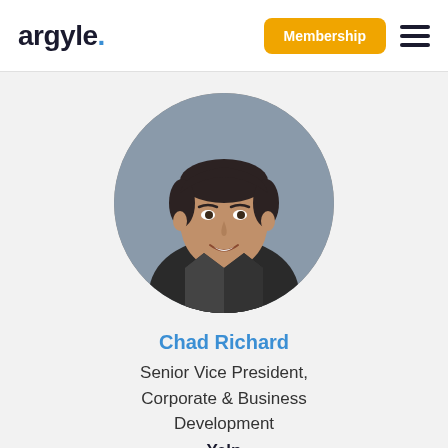[Figure (logo): Argyle logo with blue dot]
Membership
[Figure (photo): Circular headshot of Chad Richard, a man in a dark jacket, smiling, against a grey background]
Chad Richard
Senior Vice President, Corporate & Business Development
Yelp